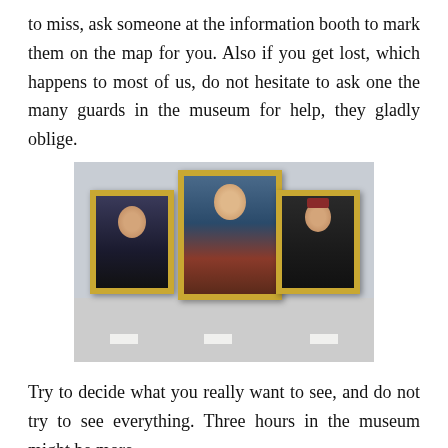to miss, ask someone at the information booth to mark them on the map for you. Also if you get lost, which happens to most of us, do not hesitate to ask one the many guards in the museum for help, they gladly oblige.
[Figure (photo): Photograph of three framed Renaissance-style paintings hanging on a museum gallery wall. Left and right frames contain portrait paintings of individuals; the center frame shows a Madonna and Child painting. Small label plaques are mounted below each painting on the wall.]
Try to decide what you really want to see, and do not try to see everything. Three hours in the museum might be more